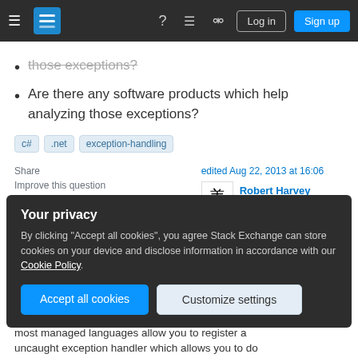Stack Exchange navigation bar with Log in and Sign up buttons
those exceptions?
Are there any software products which help analyzing those exceptions?
c# .net exception-handling
Share
Improve this question
Follow
edited Aug 22, 2013 at 16:06
Robert Harvey
196k • 55 • 458 • 665
asked Aug 22, 2013 at 14:31
Your privacy
By clicking "Accept all cookies", you agree Stack Exchange can store cookies on your device and disclose information in accordance with our Cookie Policy.
Accept all cookies
Customize settings
most managed languages allow you to register a uncaught exception handler which allows you to do